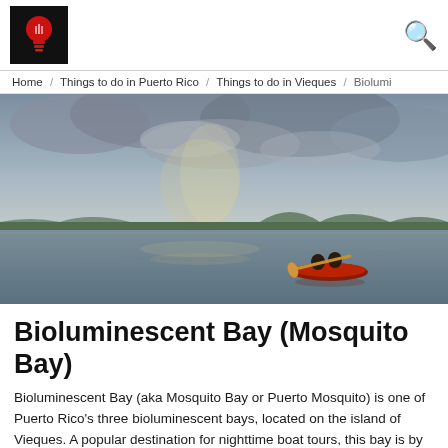[Figure (logo): Red lightbulb logo on black background]
Home / Things to do in Puerto Rico / Things to do in Vieques / Biolumi
[Figure (photo): People kayaking on a calm bay at dusk with cloudy sky and distant mountains]
Bioluminescent Bay (Mosquito Bay)
Bioluminescent Bay (aka Mosquito Bay or Puerto Mosquito) is one of Puerto Rico’s three bioluminescent bays, located on the island of Vieques. A popular destination for nighttime boat tours, this bay is by far the brightest. The